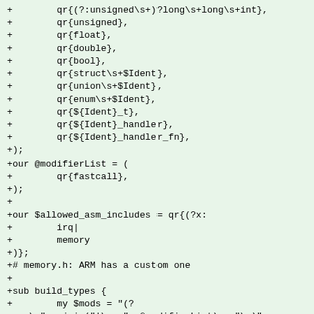+        qr{(?:unsigned\s+)?long\s+long\s+int},
+        qr{unsigned},
+        qr{float},
+        qr{double},
+        qr{bool},
+        qr{struct\s+$Ident},
+        qr{union\s+$Ident},
+        qr{enum\s+$Ident},
+        qr{${Ident}_t},
+        qr{${Ident}_handler},
+        qr{${Ident}_handler_fn},
+);
+our @modifierList = (
+        qr{fastcall},
+);
+
+our $allowed_asm_includes = qr{(?x:
+        irq|
+        memory
+)};
+# memory.h: ARM has a custom one
+
+sub build_types {
+        my $mods = "(?
x:  \n" . join("|\n  ", @modifierList) . "\n)";